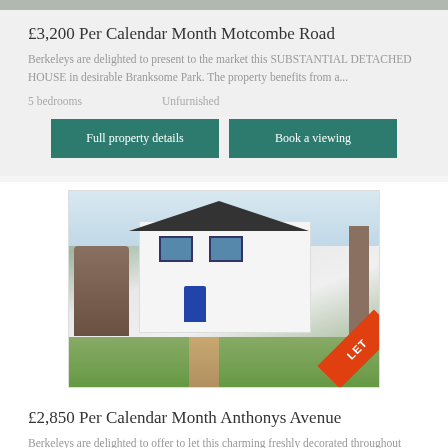£3,200 Per Calendar Month Motcombe Road
Berkeleys are delighted to present to the market this SUBSTANTIAL DETACHED HOUSE in desirable Branksome Park. The property benefits from a...
5 bedrooms    Unfurnished
[Figure (photo): Exterior photo of a white detached house with blue door, garden and driveway, with a red LET banner in the corner]
£2,850 Per Calendar Month Anthonys Avenue
Berkeleys are delighted to offer to let this charming freshly decorated throughout DETACHED FAMILY HOME situated in a highly sought after...
3 bedrooms    Unfurnished